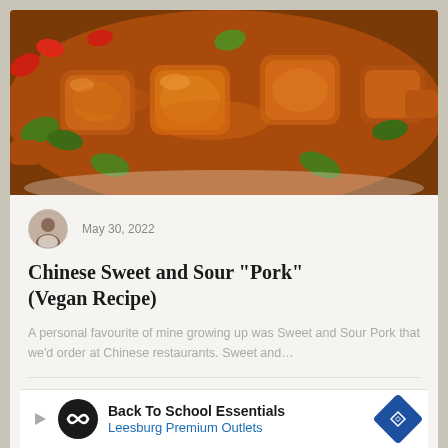[Figure (photo): Close-up photo of Chinese sweet and sour pork dish with red and green peppers in glossy brown sauce on a white plate]
May 30, 2022
Chinese Sweet and Sour "Pork" (Vegan Recipe)
A personal favourite of mine growing up was Sweet and Sour Pork that we'd order at Chinese restaurants. Sweet and…
GET THE RECIPE
Back To School Essentials Leesburg Premium Outlets